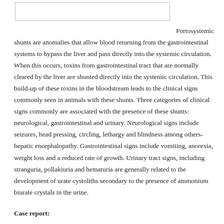[Figure (other): Empty rectangular placeholder box at top of page]
Portosystemic shunts are anomalies that allow blood returning from the gastrointestinal systems to bypass the liver and pass directly into the systemic circulation. When this occurs, toxins from gastrointestinal tract that are normally cleared by the liver are shunted directly into the systemic circulation. This build-up of these toxins in the bloodstream leads to the clinical signs commonly seen in animals with these shunts. Three categories of clinical signs commonly are associated with the presence of these shunts: neurological, gastrointestinal and urinary. Neurological signs include seizures, head pressing, circling, lethargy and blindness among others- hepatic encephalopathy. Gastrointestinal signs include vomiting, anorexia, weight loss and a reduced rate of growth. Urinary tract signs, including stranguria, pollakiuria and hematuria are generally related to the development of urate cystoliths secondary to the presence of ammonium biurate crystals in the urine.
Case report: